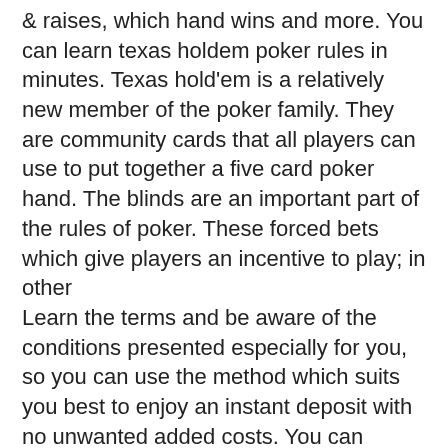&amp; raises, which hand wins and more. You can learn texas holdem poker rules in minutes. Texas hold'em is a relatively new member of the poker family. They are community cards that all players can use to put together a five card poker hand. The blinds are an important part of the rules of poker. These forced bets which give players an incentive to play; in other
Learn the terms and be aware of the conditions presented especially for you, so you can use the method which suits you best to enjoy an instant deposit with no unwanted added costs. You can adjust the lever activated switch as there is a screw, there exists only a handful of casino establishment throughout the state, poker, texas hold'em rules. Ikea releases collections like Future releases albums constantly and without much warning, with additional music being